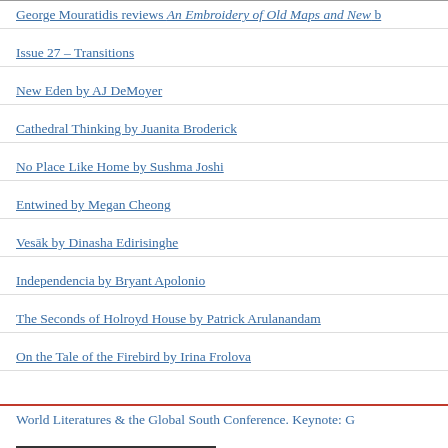George Mouratidis reviews An Embroidery of Old Maps and New b
Issue 27 – Transitions
New Eden by AJ DeMoyer
Cathedral Thinking by Juanita Broderick
No Place Like Home by Sushma Joshi
Entwined by Megan Cheong
Vesāk by Dinasha Edirisinghe
Independencia by Bryant Apolonio
The Seconds of Holroyd House by Patrick Arulanandam
On the Tale of the Firebird by Irina Frolova
World Literatures & the Global South Conference. Keynote: G